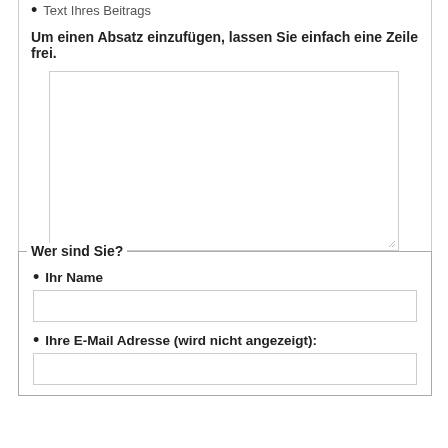Text Ihres Beitrags
Um einen Absatz einzufügen, lassen Sie einfach eine Zeile frei.
[Figure (screenshot): Large empty textarea input box with resize handle]
Wer sind Sie?
Ihr Name
[Figure (screenshot): Single-line text input box for name]
Ihre E-Mail Adresse (wird nicht angezeigt):
[Figure (screenshot): Single-line text input box for email]